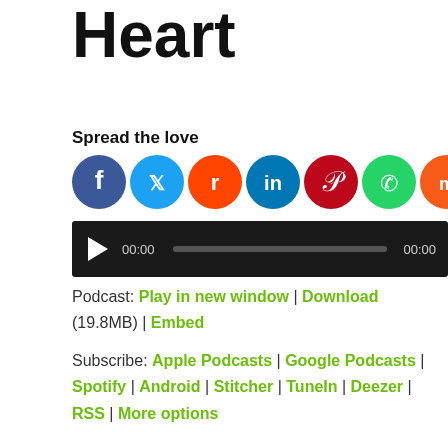Heart
Spread the love
[Figure (other): Social sharing icons: Facebook, Twitter, Reddit, LinkedIn, Pinterest, WhatsApp, Mix, MeWe, More]
[Figure (other): Audio player with play button, progress bar, timestamps 00:00 and 00:00]
Podcast: Play in new window | Download (19.8MB) | Embed
Subscribe: Apple Podcasts | Google Podcasts | Spotify | Android | Stitcher | TuneIn | Deezer | RSS | More options
[Figure (photo): Photo of a woman with brown hair against a green outdoor background]